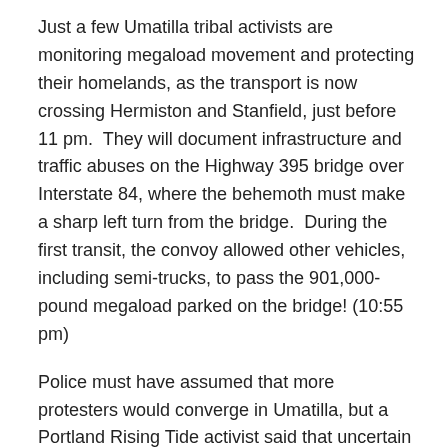Just a few Umatilla tribal activists are monitoring megaload movement and protecting their homelands, as the transport is now crossing Hermiston and Stanfield, just before 11 pm.  They will document infrastructure and traffic abuses on the Highway 395 bridge over Interstate 84, where the behemoth must make a sharp left turn from the bridge.  During the first transit, the convoy allowed other vehicles, including semi-trucks, to pass the 901,000-pound megaload parked on the bridge! (10:55 pm)
Police must have assumed that more protesters would converge in Umatilla, but a Portland Rising Tide activist said that uncertain and late megaload departure made getting people there on short notice difficult.  Many police officers have questioned the identity and purpose of travelers near the convoy, while three to four undercover vehicles follow the megaload. (11 pm)